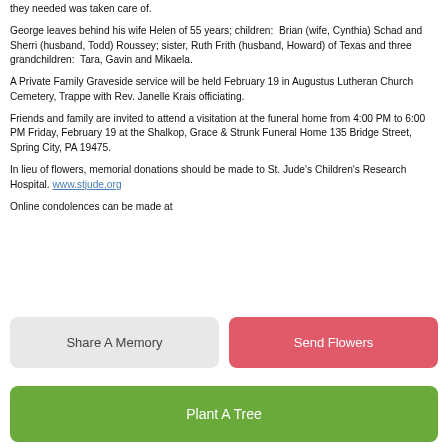they needed was taken care of.
George leaves behind his wife Helen of 55 years; children:  Brian (wife, Cynthia) Schad and Sherri (husband, Todd) Roussey; sister, Ruth Frith (husband, Howard) of Texas and three grandchildren:  Tara, Gavin and Mikaela.
A Private Family Graveside service will be held February 19 in Augustus Lutheran Church Cemetery, Trappe with Rev. Janelle Krais officiating.
Friends and family are invited to attend a visitation at the funeral home from 4:00 PM to 6:00 PM Friday, February 19 at the Shalkop, Grace & Strunk Funeral Home 135 Bridge Street, Spring City, PA 19475.
In lieu of flowers, memorial donations should be made to St. Jude's Children's Research Hospital. www.stjude.org
Online condolences can be made at
Share A Memory
Send Flowers
Plant A Tree